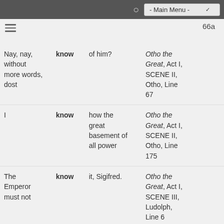- Main Menu -
66a
| Left context | Keyword | Right context | Reference |
| --- | --- | --- | --- |
| Nay, nay, without more words, dost | know | of him? | Otho the Great, Act I, SCENE II, Otho, Line 67 |
| I | know | how the great basement of all power | Otho the Great, Act I, SCENE II, Otho, Line 175 |
| The Emperor must not | know | it, Sigifred. | Otho the Great, Act I, SCENE III, Ludolph, Line 6 |